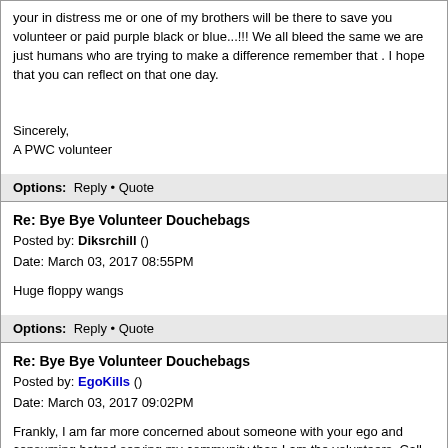your in distress me or one of my brothers will be there to save you volunteer or paid purple black or blue...!!! We all bleed the same we are just humans who are trying to make a difference remember that . I hope that you can reflect on that one day.
Sincerely,
A PWC volunteer
Options:  Reply • Quote
Re: Bye Bye Volunteer Douchebags
Posted by: Diksrchill ()
Date: March 03, 2017 08:55PM
Huge floppy wangs
Options:  Reply • Quote
Re: Bye Bye Volunteer Douchebags
Posted by: EgoKills ()
Date: March 03, 2017 09:02PM
Frankly, I am far more concerned about someone with your ego and consuming hatred serving my community than I am the volunteers. Call yourself whatever you want, but a true professional would not have posted this garbage. If you really think your position is justified, why not have the balls to identify yourself and own it?